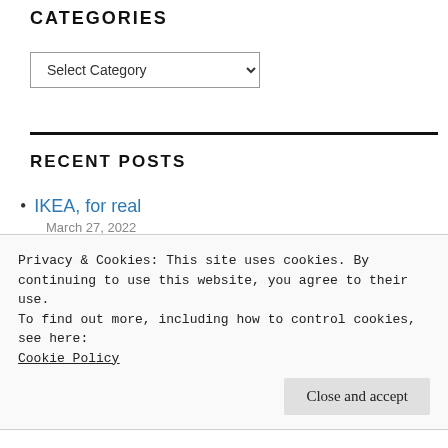CATEGORIES
Select Category
RECENT POSTS
IKEA, for real
March 27, 2022
Masked Mall Rats
Privacy & Cookies: This site uses cookies. By continuing to use this website, you agree to their use.
To find out more, including how to control cookies, see here:
Cookie Policy
Close and accept